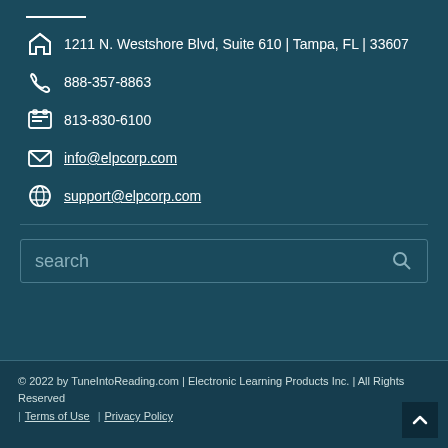1211 N. Westshore Blvd, Suite 610 | Tampa, FL | 33607
888-357-8863
813-830-6100
info@elpcorp.com
support@elpcorp.com
search
© 2022 by TuneIntoReading.com | Electronic Learning Products Inc. | All Rights Reserved
Terms of Use | Privacy Policy